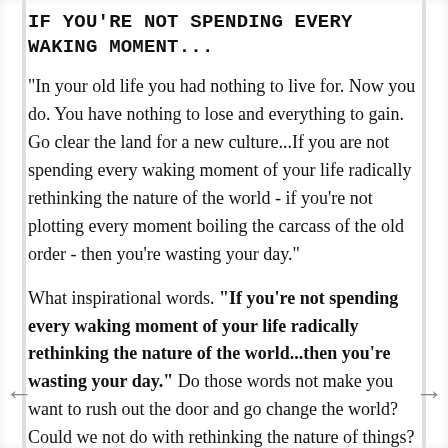IF YOU'RE NOT SPENDING EVERY WAKING MOMENT...
"In your old life you had nothing to live for. Now you do. You have nothing to lose and everything to gain. Go clear the land for a new culture...If you are not spending every waking moment of your life radically rethinking the nature of the world - if you're not plotting every moment boiling the carcass of the old order - then you're wasting your day."
What inspirational words. "If you're not spending every waking moment of your life radically rethinking the nature of the world...then you're wasting your day." Do those words not make you want to rush out the door and go change the world? Could we not do with rethinking the nature of things?